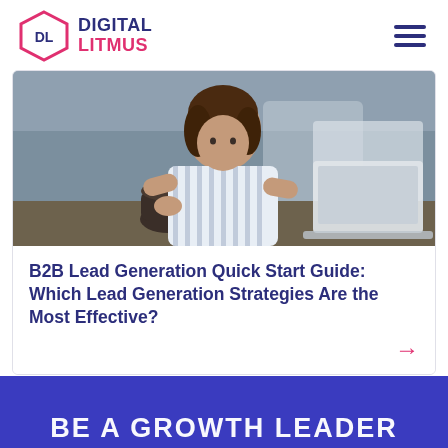[Figure (logo): Digital Litmus logo: hexagon with DL text and company name in navy/pink]
[Figure (photo): Woman in striped shirt sitting at a desk with a laptop and coffee cup]
B2B Lead Generation Quick Start Guide: Which Lead Generation Strategies Are the Most Effective?
BE A GROWTH LEADER